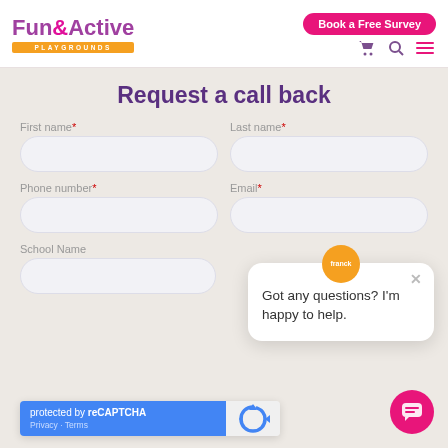[Figure (logo): Fun&Active Playgrounds logo with purple/pink text and orange bar]
Book a Free Survey
Request a call back
First name*
Last name*
Phone number*
Email*
School Name
[Figure (screenshot): Chat popup with avatar saying 'Got any questions? I'm happy to help.']
protected by reCAPTCHA
Privacy · Terms